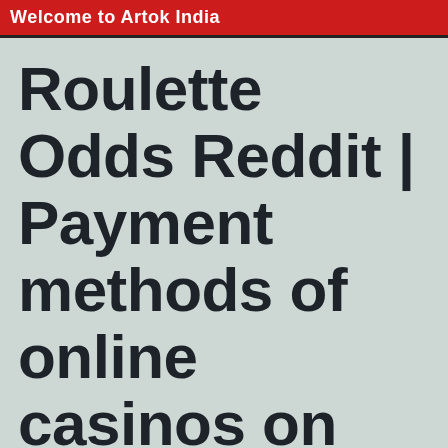Welcome to Artok India
Roulette Odds Reddit | Payment methods of online casinos on online